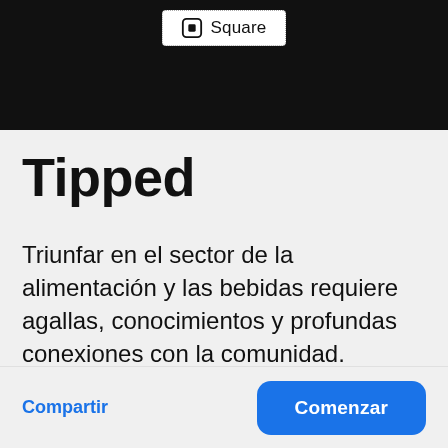[Figure (logo): Black background with a white Square payment card logo and the text 'Square' next to a square icon with a rounded square symbol inside, displayed on a dotted-border white card.]
Tipped
Triunfar en el sector de la alimentación y las bebidas requiere agallas, conocimientos y profundas conexiones con la comunidad. Tipped, un
Compartir
Comenzar